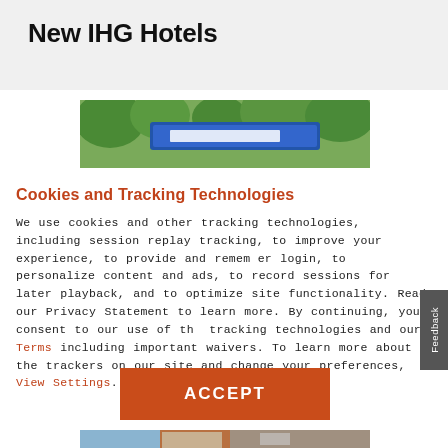New IHG Hotels
[Figure (photo): Outdoor hotel sign with blue sign and trees in background]
Cookies and Tracking Technologies
We use cookies and other tracking technologies, including session replay tracking, to improve your experience, to provide and remember login, to personalize content and ads, to record sessions for later playback, and to optimize site functionality. Read our Privacy Statement to learn more. By continuing, you consent to our use of the tracking technologies and our Terms including important waivers. To learn more about the trackers on our site and change your preferences, View Settings.
[Figure (other): ACCEPT button - orange/red rectangle with white bold text ACCEPT]
[Figure (photo): Bottom portion of hotel building exterior photo, brick and modern architecture]